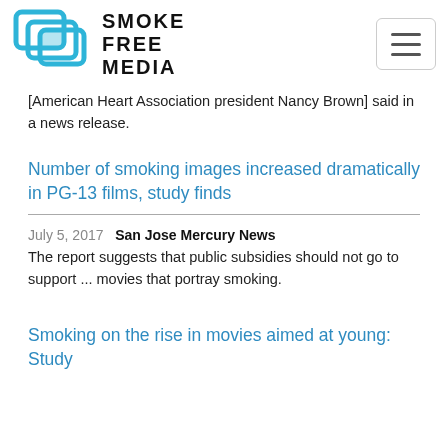SMOKE FREE MEDIA
[American Heart Association president Nancy Brown] said in a news release.
Number of smoking images increased dramatically in PG-13 films, study finds
July 5, 2017   San Jose Mercury News
The report suggests that public subsidies should not go to support ... movies that portray smoking.
Smoking on the rise in movies aimed at young: Study